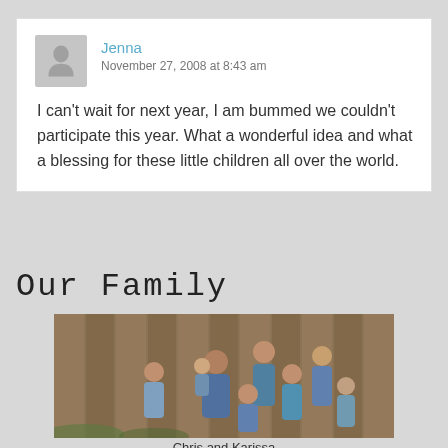Jenna
November 27, 2008 at 8:43 am
I can't wait for next year, I am bummed we couldn't participate this year. What a wonderful idea and what a blessing for these little children all over the world.
Our Family
[Figure (photo): Family photo of Chris and Karissa with their children, posed in front of a wooden fence outdoors. Group of 7 people wearing blue tones.]
Chris and Karissa